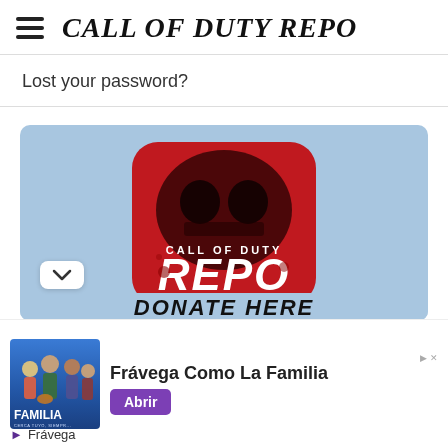CALL OF DUTY REPO
Lost your password?
[Figure (illustration): Call of Duty Repo logo on a light blue background. Red rounded-square icon with skull imagery and text 'CALL OF DUTY REPO'. Below the image is partial text 'DONATE HERE'.]
Frávega Como La Familia
Frávega